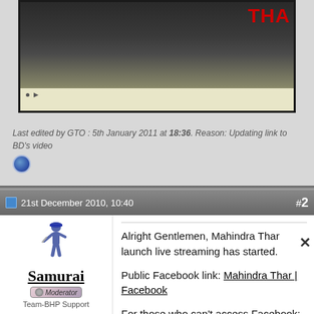[Figure (screenshot): Video player screenshot showing a person on stage with 'THA' text visible in red on right side, with a pale yellow/cream colored bottom bar area]
Last edited by GTO : 5th January 2011 at 18:36. Reason: Updating link to BD's video
21st December 2010, 10:40
#2
Samurai
Team-BHP Support
Location: Bangalore/Udupi
Posts: 25,092
Thanked: 35,443 Times
Alright Gentlemen, Mahindra Thar launch live streaming has started.

Public Facebook link: Mahindra Thar | Facebook

For those who can't access Facebook: mthar on